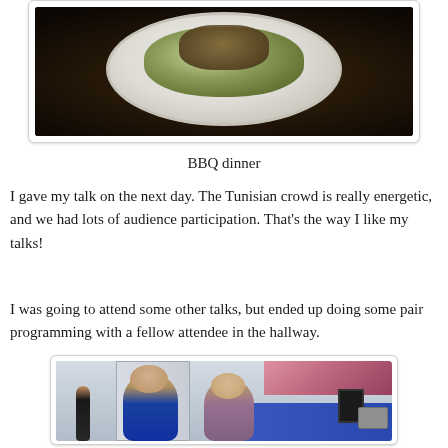[Figure (photo): Close-up photo of a BBQ dinner on a white paper plate with green lettuce and brown sauce/toppings, held on a dark background]
BBQ dinner
I gave my talk on the next day. The Tunisian crowd is really energetic, and we had lots of audience participation. That's the way I like my talks!
I was going to attend some other talks, but ended up doing some pair programming with a fellow attendee in the hallway.
[Figure (photo): Photo of two people (a man with glasses in a blue shirt and a woman in a purple cardigan) sitting at a blue desk with computers, smiling at the camera, with another person walking in the background]